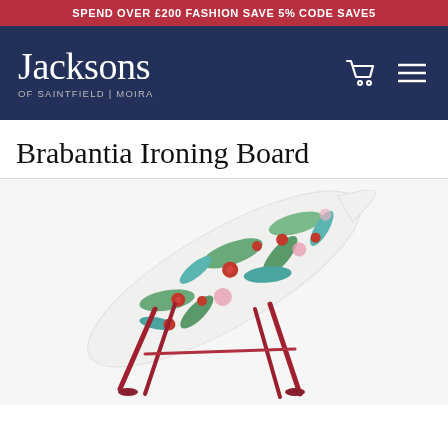SPEND OVER £200 FASHION SAVE 5% CODE SAVE5
[Figure (logo): Jacksons of Saintfield | Moira logo in white text on dark navy background, with shopping cart and hamburger menu icons]
Brabantia Ironing Board
[Figure (photo): Brabantia ironing board with a floral botanical cover featuring red berries, green leaves and teal/blue foliage on a white background, with red metal legs]